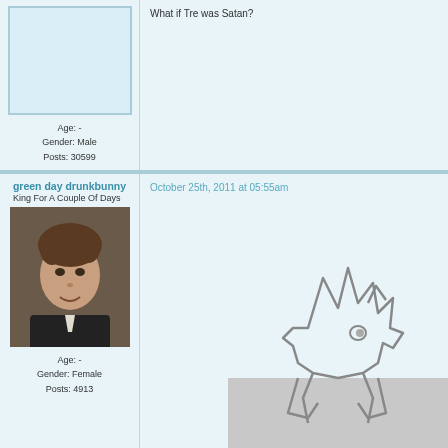What if Tre was Satan?
Age: -
Gender: Male
Posts: 30599
green day drunkbunny
King For A Couple Of Days
October 25th, 2011 at 05:55am
Age: -
Gender: Female
Posts: 4913
[Figure (photo): Profile photo of a young man with dark spiky hair wearing a dark jacket]
[Figure (illustration): Line drawing of a cartoon character resembling Sonic the Hedgehog outline, partially shown at bottom right]